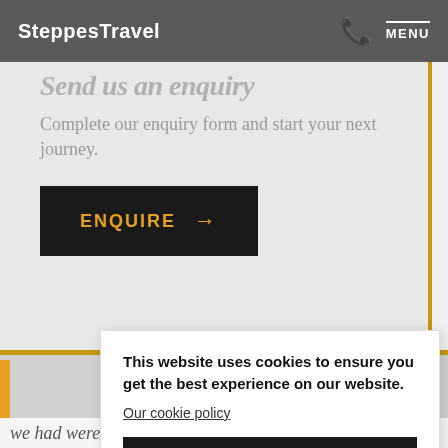SteppesTravel  MENU
Send us an enquiry
Complete our enquiry form and start your next journey.
ENQUIRE →
This website uses cookies to ensure you get the best experience on our website.
Our cookie policy
I AGREE
we had were superb, the service was